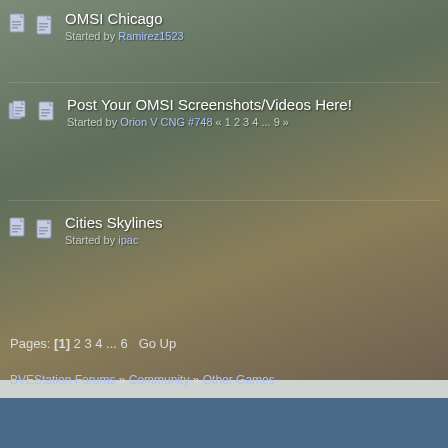OMSI Chicago
Started by Ramirez1523
Post Your OMSI Screenshots/Videos Here!
Started by Orion V CNG #748 « 1 2 3 4 ... 9 »
Cities Skylines
Started by ipac
Pages: [1] 2 3 4 ... 6   Go Up
BVEStation Forums » Community » Other Games
Normal Topic
Hot Topic (More than 15 replies)
Very Hot Topic (More than 25 replies)
Locked Topic
Sticky Topic
SMF 2.0.17 | SMF © 2019, Simple M
XHTML · RSS · WAP2
Bad Behavior has blocked 744864 access attem
Page created in 0.04 seconds with 1